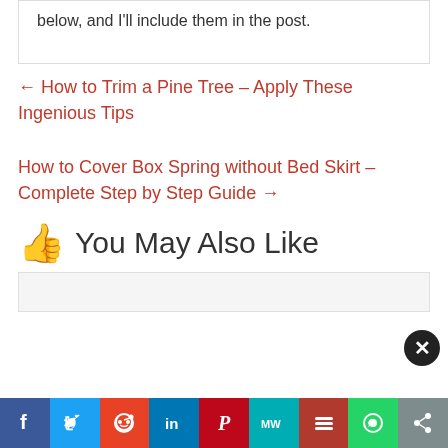below, and I'll include them in the post.
← How to Trim a Pine Tree – Apply These Ingenious Tips
How to Cover Box Spring without Bed Skirt – Complete Step by Step Guide →
👍 You May Also Like
[Figure (screenshot): Social sharing bar with Facebook, Twitter, Reddit, LinkedIn, Pinterest, MeWe, Mix, WhatsApp, and Share buttons]